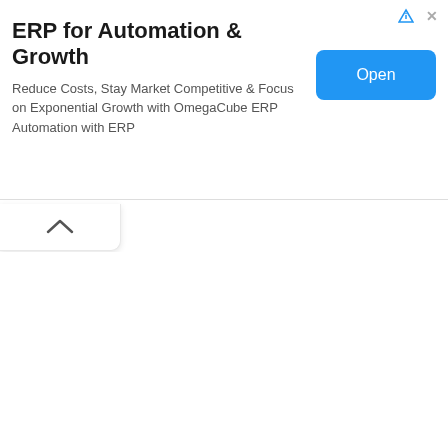ERP for Automation & Growth
Reduce Costs, Stay Market Competitive & Focus on Exponential Growth with OmegaCube ERP Automation with ERP
[Figure (other): Blue 'Open' button for ERP ad with advert info triangle icon and close X icon]
[Figure (other): Collapse/chevron-up tab button at bottom of ad banner]